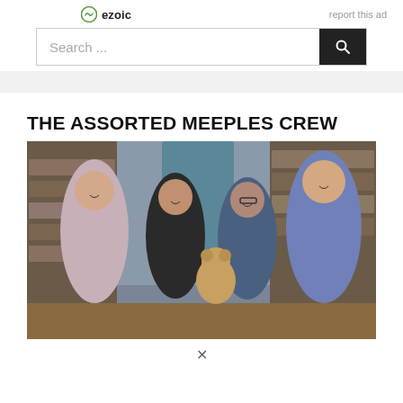[Figure (logo): Ezoic logo with circular icon and text 'ezoic']
report this ad
Search ...
THE ASSORTED MEEPLES CREW
[Figure (photo): Group photo of four men and a teddy bear in a room with board game shelves. Three men in casual shirts, one in a blue polo, standing together smiling.]